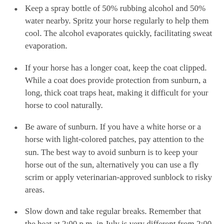Keep a spray bottle of 50% rubbing alcohol and 50% water nearby. Spritz your horse regularly to help them cool. The alcohol evaporates quickly, facilitating sweat evaporation.
If your horse has a longer coat, keep the coat clipped. While a coat does provide protection from sunburn, a long, thick coat traps heat, making it difficult for your horse to cool naturally.
Be aware of sunburn. If you have a white horse or a horse with light-colored patches, pay attention to the sun. The best way to avoid sunburn is to keep your horse out of the sun, alternatively you can use a fly scrim or apply veterinarian-approved sunblock to risky areas.
Slow down and take regular breaks. Remember that the heat at 2:00 p.m. in July is very different from 2:00 p.m